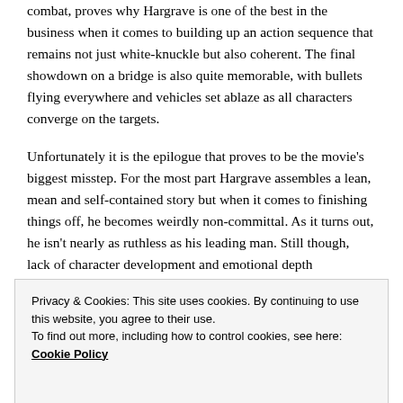combat, proves why Hargrave is one of the best in the business when it comes to building up an action sequence that remains not just white-knuckle but also coherent. The final showdown on a bridge is also quite memorable, with bullets flying everywhere and vehicles set ablaze as all characters converge on the targets.
Unfortunately it is the epilogue that proves to be the movie's biggest misstep. For the most part Hargrave assembles a lean, mean and self-contained story but when it comes to finishing things off, he becomes weirdly non-committal. As it turns out, he isn't nearly as ruthless as his leading man. Still though, lack of character development and emotional depth
Privacy & Cookies: This site uses cookies. By continuing to use this website, you agree to their use.
To find out more, including how to control cookies, see here: Cookie Policy
person to have 'viewed' something. It used to be